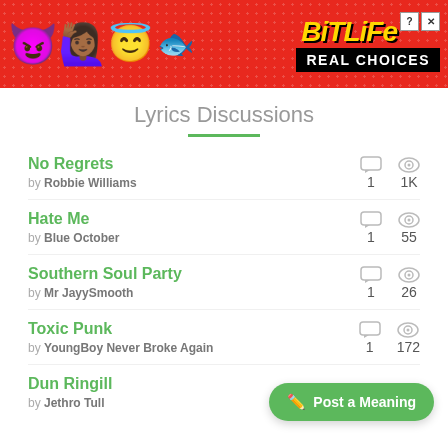[Figure (illustration): BitLife advertisement banner with red dotted background, emoji characters (devil, woman, angel face), BitLife logo in yellow italic text, and 'REAL CHOICES' text in white on black background]
Lyrics Discussions
No Regrets by Robbie Williams — 1 comment, 1K views
Hate Me by Blue October — 1 comment, 55 views
Southern Soul Party by Mr JayySmooth — 1 comment, 26 views
Toxic Punk by YoungBoy Never Broke Again — 1 comment, 172 views
Dun Ringill by Jethro Tull